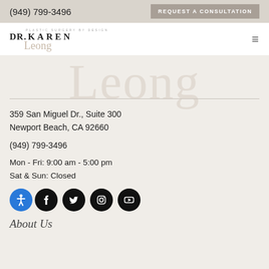(949) 799-3496
REQUEST A CONSULTATION
[Figure (logo): Dr. Karen Leong plastic surgery logo with script text]
359 San Miguel Dr., Suite 300
Newport Beach, CA 92660
(949) 799-3496
Mon - Fri: 9:00 am - 5:00 pm
Sat & Sun: Closed
[Figure (infographic): Social media icons: Facebook, Twitter, Instagram, YouTube]
About Us